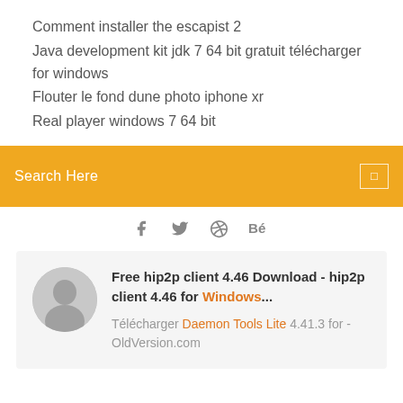Comment installer the escapist 2
Java development kit jdk 7 64 bit gratuit télécharger for windows
Flouter le fond dune photo iphone xr
Real player windows 7 64 bit
Search Here
[Figure (infographic): Social media icons: Facebook, Twitter, Dribbble, Behance]
Free hip2p client 4.46 Download - hip2p client 4.46 for Windows...
Télécharger Daemon Tools Lite 4.41.3 for - OldVersion.com